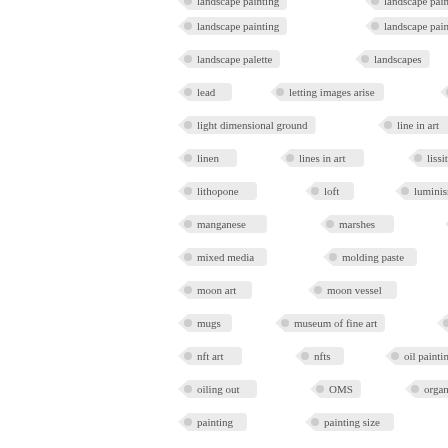landscape painting
landscape paintings
landscape palette
landscapes
lautrec
lead
letting images arise
light
light dimensional ground
line in art
linen
lines in art
lissitzky
lithopone
loft
luminism
magic
manganese
marshes
milky sea
mixed media
molding paste
moon
moon art
moon vessel
moths
mugs
museum of fine art
Naturalism
nft art
nfts
oil painting
oiling out
OMS
organic shapes
painting
painting size
painting trees
panels
patterns
perfectionism
photoshop
pigment mixtures